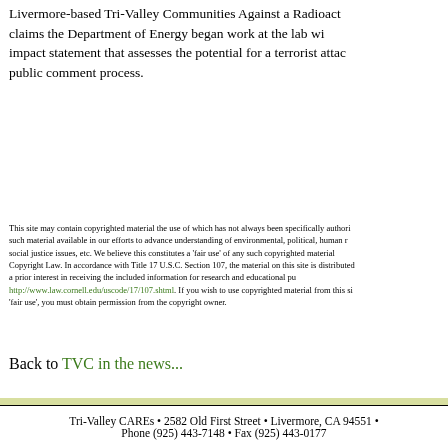Livermore-based Tri-Valley Communities Against a Radioactive Environment claims the Department of Energy began work at the lab without an environmental impact statement that assesses the potential for a terrorist attack, without a public comment process.
This site may contain copyrighted material the use of which has not always been specifically authorized by the copyright owner. We are making such material available in our efforts to advance understanding of environmental, political, human rights, economic, democracy, scientific, and social justice issues, etc. We believe this constitutes a 'fair use' of any such copyrighted material as provided for in section 107 of the US Copyright Law. In accordance with Title 17 U.S.C. Section 107, the material on this site is distributed without profit to those who have expressed a prior interest in receiving the included information for research and educational purposes. For more information go to: http://www.law.cornell.edu/uscode/17/107.shtml. If you wish to use copyrighted material from this site for purposes of your own that go beyond 'fair use', you must obtain permission from the copyright owner.
Back to TVC in the news...
Tri-Valley CAREs • 2582 Old First Street • Livermore, CA 94551 • Phone (925) 443-7148 • Fax (925) 443-0177